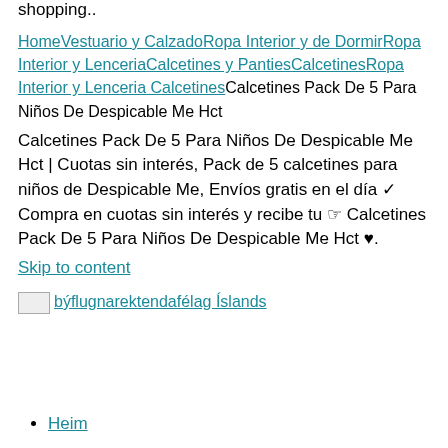shopping..
Home Vestuario y Calzado Ropa Interior y de Dormir Ropa Interior y Lenceria Calcetines y Panties Calcetines Ropa Interior y Lenceria Calcetines Calcetines Pack De 5 Para Niños De Despicable Me Hct
Calcetines Pack De 5 Para Niños De Despicable Me Hct | Cuotas sin interés, Pack de 5 calcetines para niños de Despicable Me, Envíos gratis en el día ✓ Compra en cuotas sin interés y recibe tu ☞ Calcetines Pack De 5 Para Niños De Despicable Me Hct ♥.
Skip to content
[Figure (logo): Small image placeholder for býflugnarektendafélag Íslands logo]
Heim
Um BÝ
MENU TOGGLE